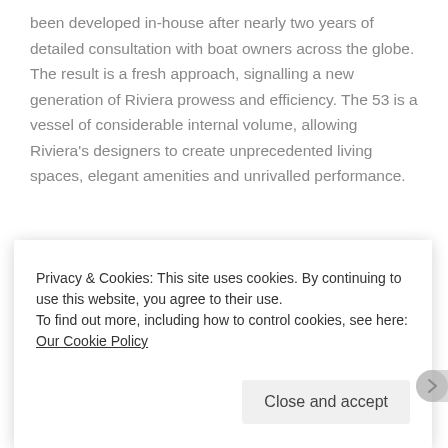been developed in-house after nearly two years of detailed consultation with boat owners across the globe. The result is a fresh approach, signalling a new generation of Riviera prowess and efficiency. The 53 is a vessel of considerable internal volume, allowing Riviera's designers to create unprecedented living spaces, elegant amenities and unrivalled performance.
[Figure (photo): Ocean water surface with blue-grey rippling waves, viewed from above]
Privacy & Cookies: This site uses cookies. By continuing to use this website, you agree to their use.
To find out more, including how to control cookies, see here: Our Cookie Policy